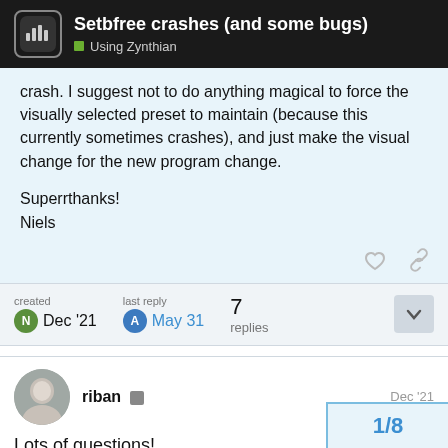Setbfree crashes (and some bugs) — Using Zynthian
crash. I suggest not to do anything magical to force the visually selected preset to maintain (because this currently sometimes crashes), and just make the visual change for the new program change.
Superrthanks!
Niels
created Dec '21  last reply May 31  7 replies
riban  Dec '21
Lots of questions!